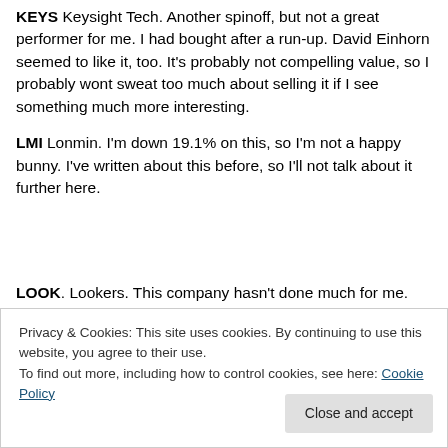KEYS Keysight Tech. Another spinoff, but not a great performer for me. I had bought after a run-up. David Einhorn seemed to like it, too. It's probably not compelling value, so I probably wont sweat too much about selling it if I see something much more interesting.
LMI Lonmin. I'm down 19.1% on this, so I'm not a happy bunny. I've written about this before, so I'll not talk about it further here.
LOOK. Lookers. This company hasn't done much for me. I've held for a little over a year, and was expected good
Privacy & Cookies: This site uses cookies. By continuing to use this website, you agree to their use.
To find out more, including how to control cookies, see here: Cookie Policy
it from where I'm sitting.